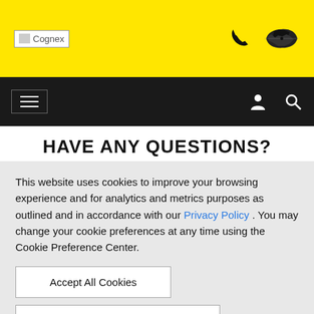Cognex [logo] | phone icon | world map icon
hamburger menu | user icon | search icon
HAVE ANY QUESTIONS?
Cognex representatives are available worldwide to
This website uses cookies to improve your browsing experience and for analytics and metrics purposes as outlined and in accordance with our Privacy Policy . You may change your cookie preferences at any time using the Cookie Preference Center.
Accept All Cookies
Cookie Preference Center